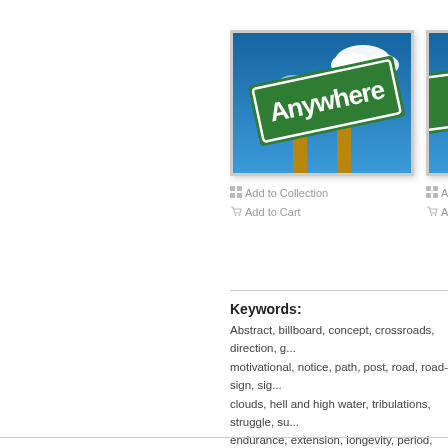[Figure (photo): Green road sign reading 'Anywhere' against a blue sky with clouds, supported by wooden posts]
[Figure (photo): Partially visible green road sign (letter N visible) against blue sky, cropped at right edge]
Add to Collection
Add to Cart
Add to
Add to
Keywords:
Abstract, billboard, concept, crossroads, direction, g... motivational, notice, path, post, road, road-sign, sig... clouds, hell and high water, tribulations, struggle, su... endurance, extension, longevity, period, permanenc... vitality, moxie, perseverance, persistence, tenacity,... withstanding, tolerance, 400-05011737